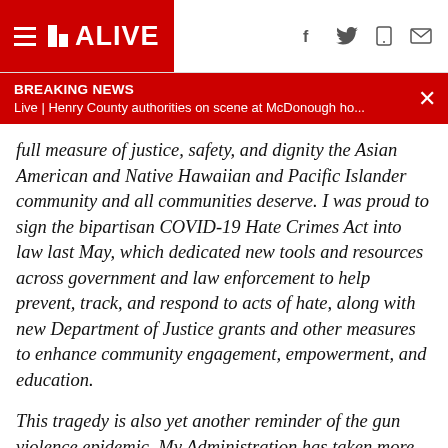11 ALIVE
BREAKING NEWS
Live | Henry County authorities on scene at McDonough ho...
full measure of justice, safety, and dignity the Asian American and Native Hawaiian and Pacific Islander community and all communities deserve. I was proud to sign the bipartisan COVID-19 Hate Crimes Act into law last May, which dedicated new tools and resources across government and law enforcement to help prevent, track, and respond to acts of hate, along with new Department of Justice grants and other measures to enhance community engagement, empowerment, and education.
This tragedy is also yet another reminder of the gun violence epidemic. My Administration has taken more executive action to reduce gun violence than any other Administration it its first year. But there is more to do—and Congress must act.